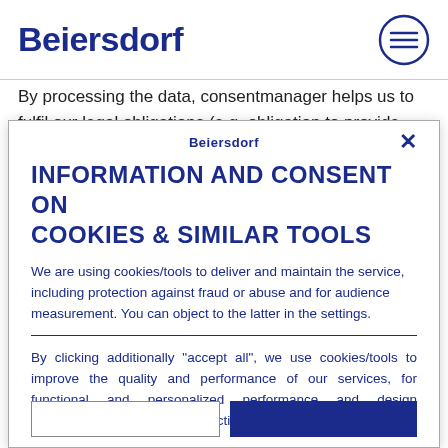Beiersdorf
By processing the data, consentmanager helps us to fulfil our legal obligations (e.g. obligation to provide
Beiersdorf
INFORMATION AND CONSENT ON COOKIES & SIMILAR TOOLS
We are using cookies/tools to deliver and maintain the service, including protection against fraud or abuse and for audience measurement. You can object to the latter in the settings.
By clicking additionally "accept all", we use cookies/tools to improve the quality and performance of our services, for functional and personalized performance and design improvements, to measure effectiveness of ads or campaigns,